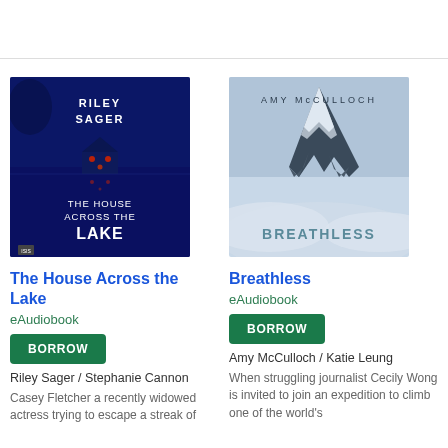[Figure (illustration): Audio book cover for 'The House Across the Lake' by Riley Sager. Dark blue lake scene at night with a house reflected in water with red lights. White text on dark blue background.]
[Figure (illustration): Audio book cover for 'Breathless' by Amy McCulloch. Snow-capped mountain peak emerging from clouds on a blue-grey background. Text 'BREATHLESS' at the bottom.]
The House Across the Lake
eAudiobook
BORROW
Riley Sager / Stephanie Cannon
Casey Fletcher a recently widowed actress trying to escape a streak of
Breathless
eAudiobook
BORROW
Amy McCulloch / Katie Leung
When struggling journalist Cecily Wong is invited to join an expedition to climb one of the world's